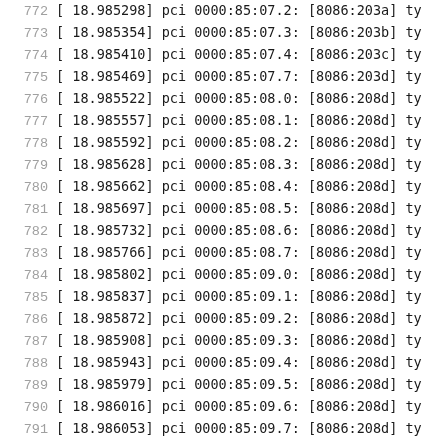772  [    18.985298] pci 0000:85:07.2: [8086:203a] ty
773  [    18.985354] pci 0000:85:07.3: [8086:203b] ty
774  [    18.985410] pci 0000:85:07.4: [8086:203c] ty
775  [    18.985469] pci 0000:85:07.7: [8086:203d] ty
776  [    18.985522] pci 0000:85:08.0: [8086:208d] ty
777  [    18.985557] pci 0000:85:08.1: [8086:208d] ty
778  [    18.985592] pci 0000:85:08.2: [8086:208d] ty
779  [    18.985628] pci 0000:85:08.3: [8086:208d] ty
780  [    18.985662] pci 0000:85:08.4: [8086:208d] ty
781  [    18.985697] pci 0000:85:08.5: [8086:208d] ty
782  [    18.985732] pci 0000:85:08.6: [8086:208d] ty
783  [    18.985766] pci 0000:85:08.7: [8086:208d] ty
784  [    18.985802] pci 0000:85:09.0: [8086:208d] ty
785  [    18.985837] pci 0000:85:09.1: [8086:208d] ty
786  [    18.985872] pci 0000:85:09.2: [8086:208d] ty
787  [    18.985908] pci 0000:85:09.3: [8086:208d] ty
788  [    18.985943] pci 0000:85:09.4: [8086:208d] ty
789  [    18.985979] pci 0000:85:09.5: [8086:208d] ty
790  [    18.986016] pci 0000:85:09.6: [8086:208d] ty
791  [    18.986053] pci 0000:85:09.7: [8086:208d] ty